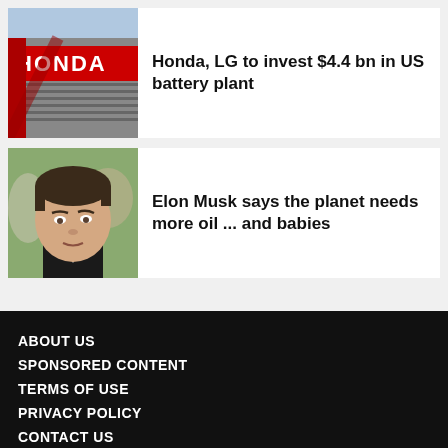[Figure (photo): Honda dealership building exterior with red Honda logo signage]
Honda, LG to invest $4.4 bn in US battery plant
[Figure (photo): Close-up photo of Elon Musk looking downward]
Elon Musk says the planet needs more oil ... and babies
ABOUT US
SPONSORED CONTENT
TERMS OF USE
PRIVACY POLICY
CONTACT US